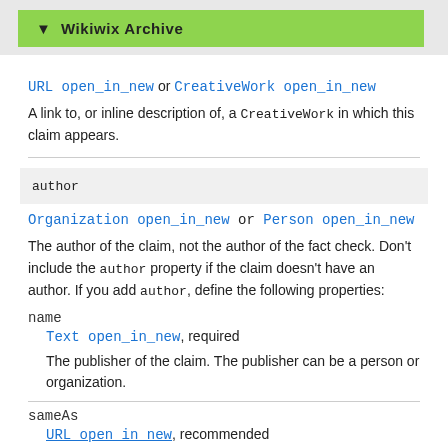▼ Wikiwix Archive
URL open_in_new or CreativeWork open_in_new
A link to, or inline description of, a CreativeWork in which this claim appears.
author
Organization open_in_new or Person open_in_new
The author of the claim, not the author of the fact check. Don't include the author property if the claim doesn't have an author. If you add author, define the following properties:
name
Text open_in_new, required
The publisher of the claim. The publisher can be a person or organization.
sameAs
URL open_in_new, recommended